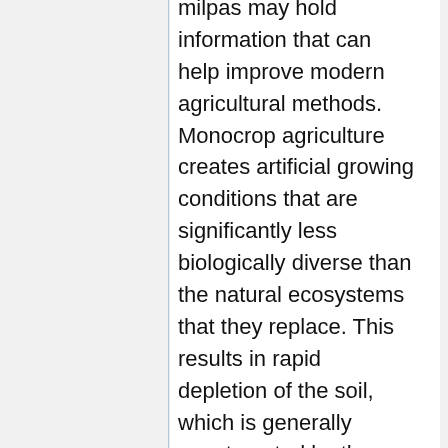milpas may hold information that can help improve modern agricultural methods. Monocrop agriculture creates artificial growing conditions that are significantly less biologically diverse than the natural ecosystems that they replace. This results in rapid depletion of the soil, which is generally counteracted by the application of chemical fertilizers that return nutrients to the soil but may have damaging effects in the long-term. Though it is unlikely that the balancing diversity of milpa agriculture can be reproduced on an industrial scale, the indigenous knowledge embedded in its design may provide some guidelines for improving industrial techniques. "By studying [the milpa's] essential features," writes Charles C. Mann, "researchers may be able to smooth the rough ecological edges of conventional